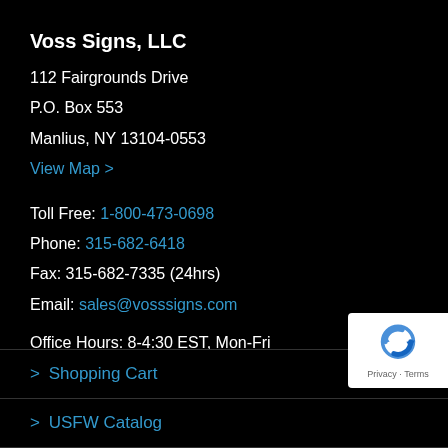Voss Signs, LLC
112 Fairgrounds Drive
P.O. Box 553
Manlius, NY 13104-0553
View Map >
Toll Free: 1-800-473-0698
Phone: 315-682-6418
Fax: 315-682-7335 (24hrs)
Email: sales@vosssigns.com
Office Hours: 8-4:30 EST, Mon-Fri
> Shopping Cart
> USFW Catalog